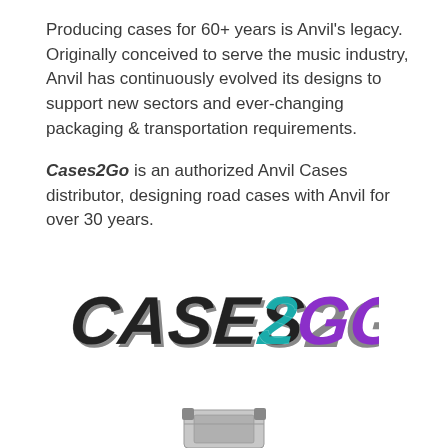Producing cases for 60+ years is Anvil's legacy. Originally conceived to serve the music industry, Anvil has continuously evolved its designs to support new sectors and ever-changing packaging & transportation requirements.
Cases2Go is an authorized Anvil Cases distributor, designing road cases with Anvil for over 30 years.
[Figure (logo): Cases2Go logo with stylized bold italic text: 'CASES' in dark/black with metallic effect, '2' in teal/cyan, 'GO' in purple, all in a bold italic condensed font]
[Figure (photo): Partial view of a road case, cropped at the bottom of the page]